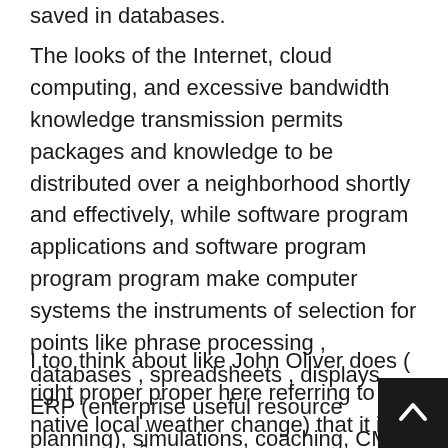saved in databases.
The looks of the Internet, cloud computing, and excessive bandwidth knowledge transmission permits packages and knowledge to be distributed over a neighborhood shortly and effectively, while software program applications and software program program program make computer systems the instruments of selection for points like phrase processing , databases , spreadsheets , displays, ERP (enterprise useful resource planning), simulations, coaching, CMS (content administration methods), gaming and engineering.
I too think about like John Oliver does ( right proper proper here referring to native local weather change) that it is inheritantlyÂ misleading to afford an educated on the subject Protectie